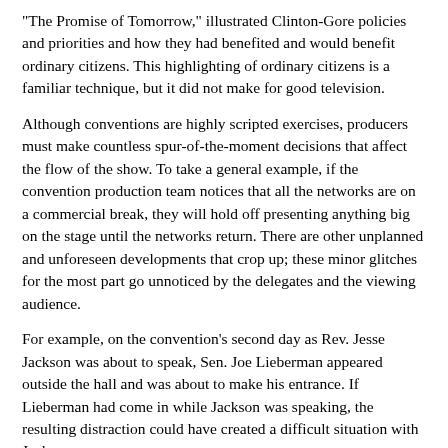"The Promise of Tomorrow," illustrated Clinton-Gore policies and priorities and how they had benefited and would benefit ordinary citizens.  This highlighting of ordinary citizens is a familiar technique, but it did not make for good television.
Although conventions are highly scripted exercises, producers must make countless spur-of-the-moment decisions that affect the flow of the show.  To take a general example, if the convention production team notices that all the networks are on a commercial break, they will hold off presenting anything big on the stage until the networks return.  There are other unplanned and unforeseen developments that crop up; these minor glitches for the most part go unnoticed by the delegates and the viewing audience.
For example, on the convention's second day as Rev. Jesse Jackson was about to speak, Sen. Joe Lieberman appeared outside the hall and was about to make his entrance.  If Lieberman had come in while Jackson was speaking, the resulting distraction could have created a difficult situation with Jackson.
Another example.  There were many videos for use in downtimes.  One of these featured theoretical physicist Stephen Hawking, who is confined to a wheelchair due to Lou Gehrig's disease.  About 30 seconds before the end of this moving video, Sen. Lieberman walked in the hall.  Of course, the network cameras immediately abandoned the video cameras to Lieberman. Interestingly,